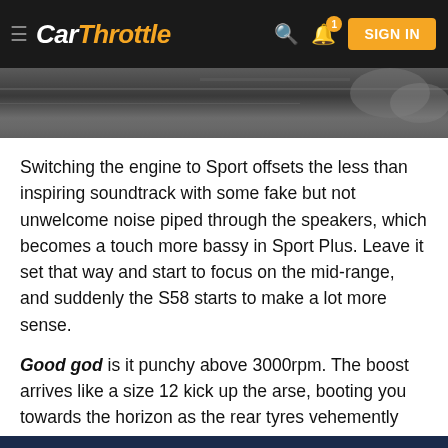CarThrottle — SIGN IN
[Figure (photo): Hero image showing a dark road or track surface, asphalt with gravel]
Switching the engine to Sport offsets the less than inspiring soundtrack with some fake but not unwelcome noise piped through the speakers, which becomes a touch more bassy in Sport Plus. Leave it set that way and start to focus on the mid-range, and suddenly the S58 starts to make a lot more sense.
Good god is it punchy above 3000rpm. The boost arrives like a size 12 kick up the arse, booting you towards the horizon as the rear tyres vehemently reject the demands of the half shafts. In our particular M4, the entirety of the 503bhp and 442lb ft outputs go to the rear wheels. All-wheel drive versions are on the way, but not until Autumn, so for now, wheelspin is the order of the day.